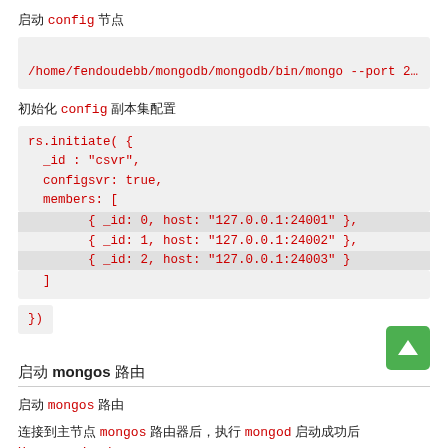启动 config 节点
/home/fendoudebb/mongodb/mongodb/bin/mongo --port 2400
初始化 config 副本集配置
rs.initiate( {
  _id : "csvr",
  configsvr: true,
  members: [
    { _id: 0, host: "127.0.0.1:24001" },
    { _id: 1, host: "127.0.0.1:24002" },
    { _id: 2, host: "127.0.0.1:24003" }
  ]
})
启动 mongos 路由
启动 mongos 路由
连接到主节点 mongos 路由器后，执行 mongod 启动成功后 Unrecognized